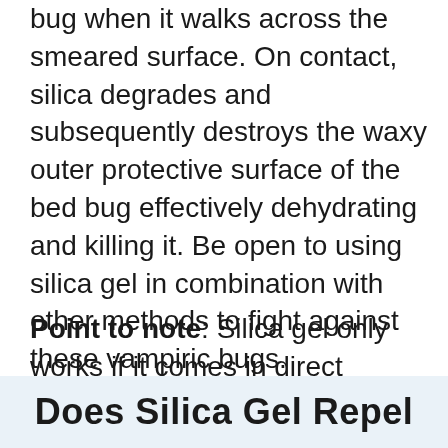bug when it walks across the smeared surface. On contact, silica degrades and subsequently destroys the waxy outer protective surface of the bed bug effectively dehydrating and killing it. Be open to using silica gel in combination with other methods to fight against these vampiric bugs.
Point to note: Silica gel only works if it comes in direct contact with bed bugs
Does Silica Gel Repel